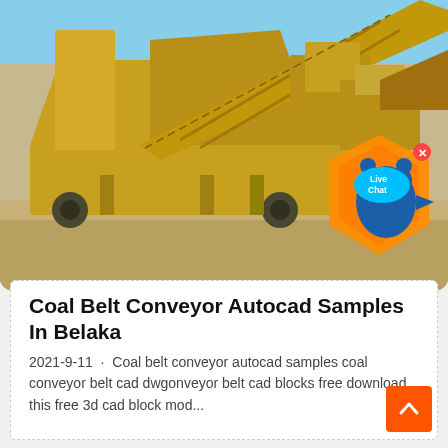[Figure (photo): Photograph of a large yellow mining/crushing machine (jaw crusher or portable rock crusher) outdoors on a sandy/gravelly construction site under a blue sky. A 'Live Chat' overlay widget with an orange hexagon logo and blue bear mascot is visible in the lower-right corner of the photo.]
Coal Belt Conveyor Autocad Samples In Belaka
2021-9-11 · Coal belt conveyor autocad samples coal conveyor belt cad dwgonveyor belt cad blocks free download this free 3d cad block mod...